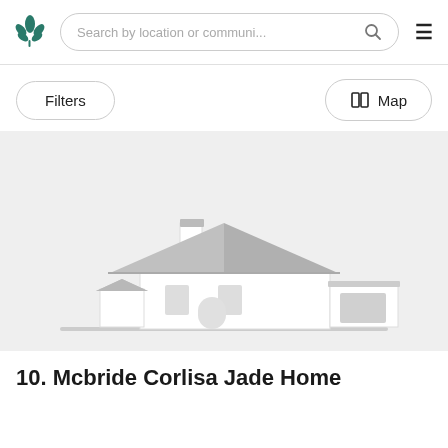[Figure (logo): Green leaf/plant logo icon]
Search by location or communi...
Filters
Map
[Figure (illustration): Placeholder house illustration with grey silhouette of a house including chimney, roof, windows, door, and garage on a light grey background]
10. Mcbride Corlisa Jade Home